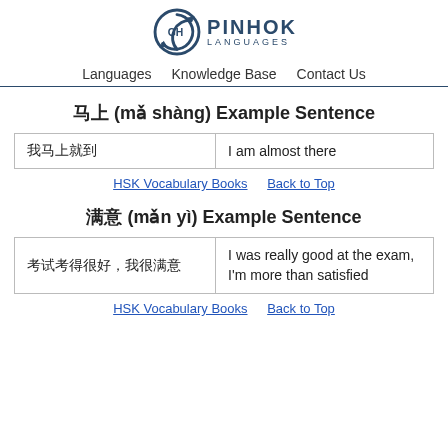[Figure (logo): Pinhok Languages logo with circular arrow icon and text]
Languages   Knowledge Base   Contact Us
马上 (mǎ shàng) Example Sentence
| 我马上就到 | I am almost there |
HSK Vocabulary Books   Back to Top
满意 (mǎn yì) Example Sentence
| 考试考得很好，我很满意 | I was really good at the exam, I'm more than satisfied |
HSK Vocabulary Books   Back to Top